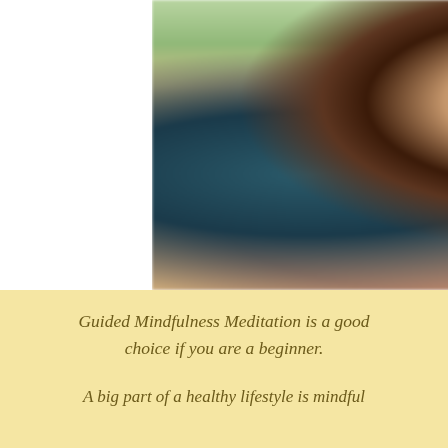[Figure (photo): A blurred photo of people sitting in a group meditation or yoga session outdoors. A person in a black top is seated in the center, surrounded by others. The image has a soft, blurred quality with warm and cool tones.]
Guided Mindfulness Meditation is a good choice if you are a beginner.
A big part of a healthy lifestyle is mindful